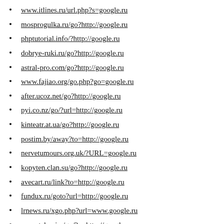www.itlines.ru/url.php?s=google.ru
mosprogulka.ru/go?http://google.ru
phptutorial.info/?http://google.ru
dobrye-ruki.ru/go?http://google.ru
astral-pro.com/go?http://google.ru
www.fajiao.org/go.php?go=google.ru
after.ucoz.net/go?http://google.ru
pyi.co.nz/go/?url=http://google.ru
kinteatr.at.ua/go?http://google.ru
postim.by/away?to=http://google.ru
nervetumours.org.uk/?URL=google.ru
kopyten.clan.su/go?http://google.ru
avecart.ru/link?to=http://google.ru
fundux.ru/goto?url=http://google.ru
lrnews.ru/xgo.php?url=www.google.ru
www.taker.im/go/?u=http://google.ru
cabalru.clan.su/go?http://google.ru
www.orenvelo.ru/go?http://google.ru
usehelp.clan.su/go?http://google.ru